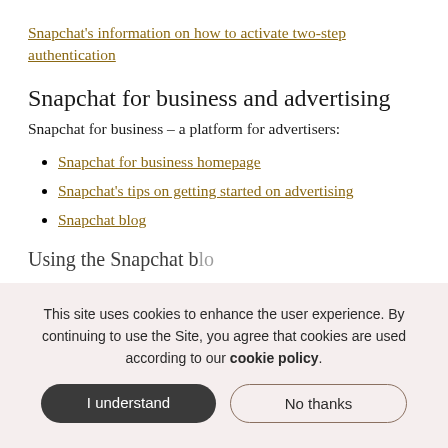Snapchat's information on how to activate two-step authentication
Snapchat for business and advertising
Snapchat for business – a platform for advertisers:
Snapchat for business homepage
Snapchat's tips on getting started on advertising
Snapchat blog
Using the Snapchat...
This site uses cookies to enhance the user experience. By continuing to use the Site, you agree that cookies are used according to our cookie policy.